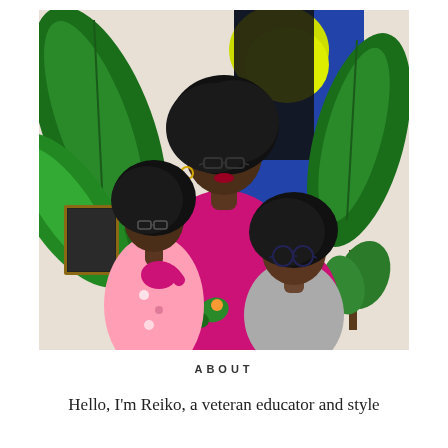[Figure (photo): A woman wearing a bright magenta/fuchsia satin blouse and glasses poses with two children in front of tropical plants and a colorful painting. The girl on the left wears a pink floral dress and glasses; the boy on the right wears a grey shirt and glasses. The background features large tropical leaves and a blue and yellow abstract artwork.]
ABOUT
Hello, I'm Reiko, a veteran educator and style